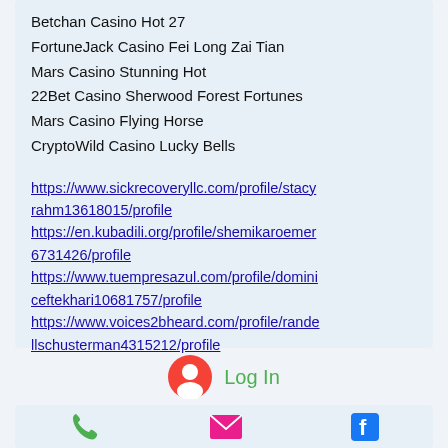Betchan Casino Hot 27
FortuneJack Casino Fei Long Zai Tian
Mars Casino Stunning Hot
22Bet Casino Sherwood Forest Fortunes
Mars Casino Flying Horse
CryptoWild Casino Lucky Bells
https://www.sickrecoveryllc.com/profile/stacyrahm13618015/profile https://en.kubadili.org/profile/shemikaroemer6731426/profile https://www.tuempresazul.com/profile/dominiceftekhari10681757/profile https://www.voices2bheard.com/profile/randellschusterman4315212/profile
Log In
[Figure (infographic): Bottom navigation bar with phone icon (green), email/envelope icon (pink/magenta), and Facebook icon (blue)]